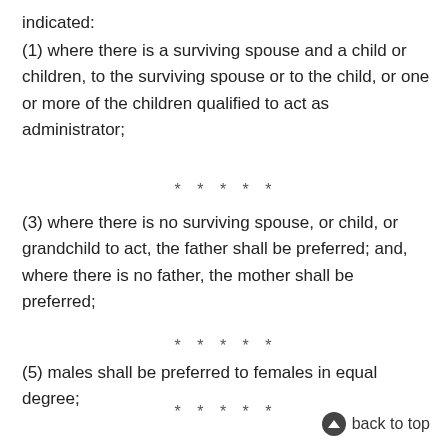indicated:
(1) where there is a surviving spouse and a child or children, to the surviving spouse or to the child, or one or more of the children qualified to act as administrator;
* * * * *
(3) where there is no surviving spouse, or child, or grandchild to act, the father shall be preferred; and, where there is no father, the mother shall be preferred;
* * * * *
(5) males shall be preferred to females in equal degree;
* * * * *
back to top